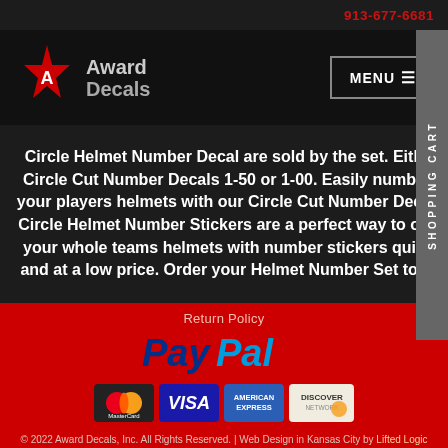913-677-6681
[Figure (logo): Award Decals logo with red star and text]
MENU
Circle Helmet Number Decal are sold by the set. Either Circle Cut Number Decals 1-50 or 1-00. Easily number your players helmets with our Circle Cut Number Decals. Circle Helmet Number Stickers are a perfect way to outfit your whole teams helmets with number stickers quickly and at a low price. Order your Helmet Number Set today.
SHOPPING CART
Return Policy
[Figure (logo): PayPal logo in blue italic text]
[Figure (logo): Payment method logos: MasterCard, VISA, American Express, Discover]
© 2022 Award Decals, Inc. All Rights Reserved. | Web Design in Kansas City by Lifted Logic